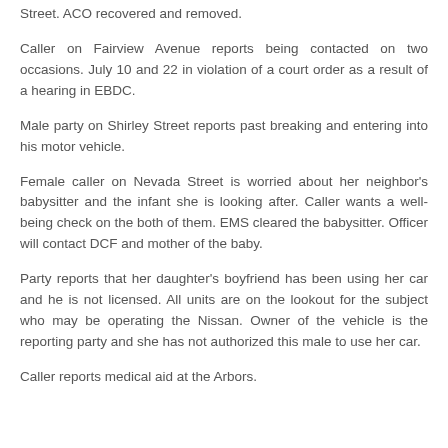Street. ACO recovered and removed.
Caller on Fairview Avenue reports being contacted on two occasions. July 10 and 22 in violation of a court order as a result of a hearing in EBDC.
Male party on Shirley Street reports past breaking and entering into his motor vehicle.
Female caller on Nevada Street is worried about her neighbor's babysitter and the infant she is looking after. Caller wants a well-being check on the both of them. EMS cleared the babysitter. Officer will contact DCF and mother of the baby.
Party reports that her daughter's boyfriend has been using her car and he is not licensed. All units are on the lookout for the subject who may be operating the Nissan. Owner of the vehicle is the reporting party and she has not authorized this male to use her car.
Caller reports medical aid at the Arbors.